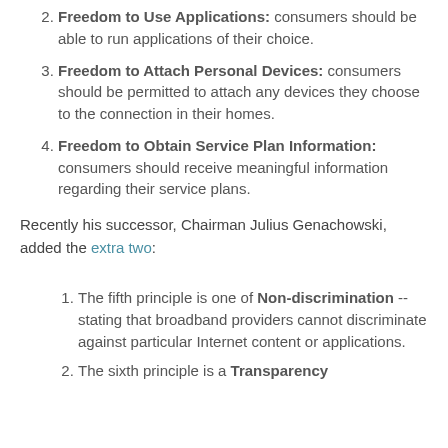2. Freedom to Use Applications: consumers should be able to run applications of their choice.
3. Freedom to Attach Personal Devices: consumers should be permitted to attach any devices they choose to the connection in their homes.
4. Freedom to Obtain Service Plan Information: consumers should receive meaningful information regarding their service plans.
Recently his successor, Chairman Julius Genachowski, added the extra two:
1. The fifth principle is one of Non-discrimination -- stating that broadband providers cannot discriminate against particular Internet content or applications.
2. The sixth principle is a Transparency